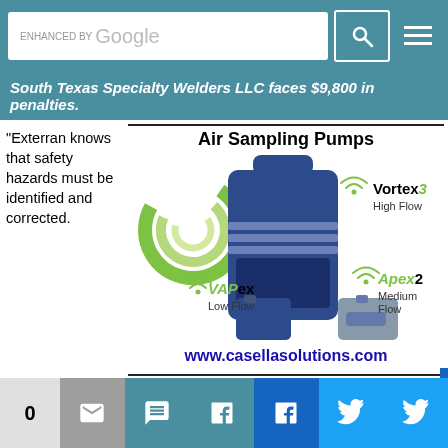ENHANCED BY Google [search bar]
South Texas Specialty Welders LLC faces $9,800 in penalties.
[Figure (illustration): Advertisement for Air Sampling Pumps by Casella Solutions, showing three pump models: VAPex Low Flow, Vortex3 High Flow, and Apex2 Medium Flow, with product images and the URL www.casellasolutions.com]
"Exterran knows that safety hazards must be identified and corrected.
Unfortunately, the company was complacent, and safety and health conditions were not a priority at this location," said P...
0 [share icons: email, SMS, LinkedIn, Facebook, Twitter]